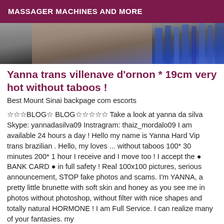MASSAGER MACHINES AND MORE
[Figure (photo): Partial photo showing skin and blue fabric/clothing, cropped at top]
Yanna trans villenave d'ornon * 19cm very hot without taboos !
Best Mount Sinai backpage com escorts
☆☆☆BLOG☆ BLOG☆☆☆☆☆ Take a look at yanna da silva Skype: yannadasilva09 Instragram: thaiz_mordalo09 I am available 24 hours a day ! Hello my name is Yanna Hard Vip trans brazilian . Hello, my loves ... without taboos 100* 30 minutes 200* 1 hour I receive and I move too ! I accept the ● BANK CARD ● in full safety ! Real 100x100 pictures, serious announcement, STOP fake photos and scams. I'm YANNA, a pretty little brunette with soft skin and honey as you see me in photos without photoshop, without filter with nice shapes and totally natural HORMONE ! I am Full Service. I can realize many of your fantasies. my